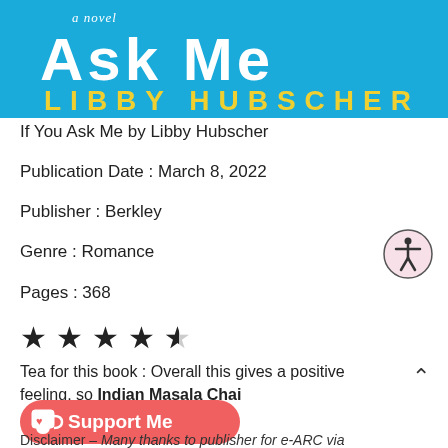[Figure (illustration): Book cover banner for 'If You Ask Me, a novel' by Libby Hubscher on a cyan/blue background. Title in large white bold text, author name in large yellow bold text.]
If You Ask Me by Libby Hubscher
Publication Date : March 8, 2022
Publisher : Berkley
Genre : Romance
Pages : 368
[Figure (other): Star rating: 4.5 out of 5 stars (4 filled black stars and 1 half star)]
Tea for this book : Overall this gives a positive feeling, so Indian Masala Chai
[Figure (other): Ko-fi Support Me button with cup icon]
Disclaimer – Many thanks to publisher for e-ARC via